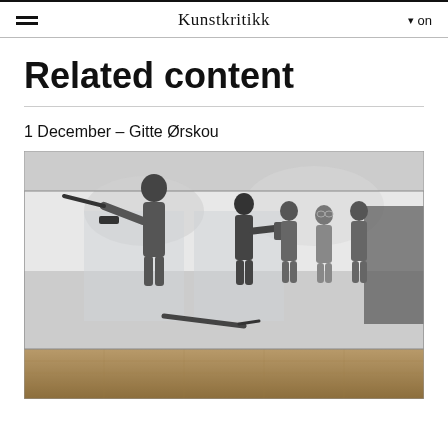Kunstkritikk  on
Related content
1 December – Gitte Ørskou
[Figure (photo): Black and white photograph displayed as a large wall installation in a gallery space. The image shows a scene with multiple people, one holding what appears to be a rifle or long gun, another holding a book or booklet, surrounded by several other figures in a tense confrontational scene. The gallery floor is wooden parquet.]